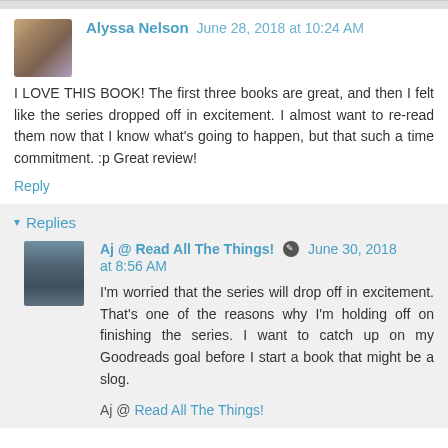Alyssa Nelson  June 28, 2018 at 10:24 AM
I LOVE THIS BOOK! The first three books are great, and then I felt like the series dropped off in excitement. I almost want to re-read them now that I know what's going to happen, but that such a time commitment. :p Great review!
Reply
Replies
Aj @ Read All The Things!  June 30, 2018 at 8:56 AM
I'm worried that the series will drop off in excitement. That's one of the reasons why I'm holding off on finishing the series. I want to catch up on my Goodreads goal before I start a book that might be a slog.
Aj @ Read All The Things!